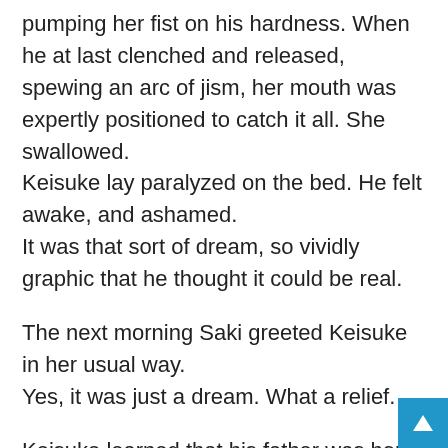pumping her fist on his hardness. When he at last clenched and released,
spewing an arc of jism, her mouth was expertly positioned to catch it all. She swallowed.
Keisuke lay paralyzed on the bed. He felt awake, and ashamed.
It was that sort of dream, so vividly graphic that he thought it could be real.
The next morning Saki greeted Keisuke in her usual way.
Yes, it was just a dream. What a relief.
Keisuke learned that his father was home for the first time in a while.